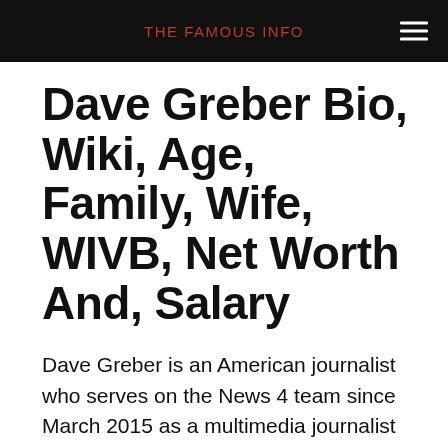THE FAMOUS INFO
Dave Greber Bio, Wiki, Age, Family, Wife, WIVB, Net Worth And, Salary
Dave Greber is an American journalist who serves on the News 4 team since March 2015 as a multimedia journalist and fill-in anchor. In January 2018, he was promoted to a full-time anchor, first to News 4 at 4 and News 4 at 5:30 and the